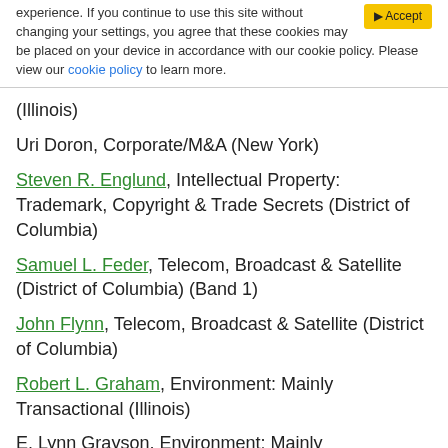experience. If you continue to use this site without changing your settings, you agree that these cookies may be placed on your device in accordance with our cookie policy. Please view our cookie policy to learn more.
(Illinois)
Uri Doron, Corporate/M&A (New York)
Steven R. Englund, Intellectual Property: Trademark, Copyright & Trade Secrets (District of Columbia)
Samuel L. Feder, Telecom, Broadcast & Satellite (District of Columbia) (Band 1)
John Flynn, Telecom, Broadcast & Satellite (District of Columbia)
Robert L. Graham, Environment: Mainly Transactional (Illinois)
E. Lynn Grayson, Environment: Mainly Transactional (Illinois) (Band 1)
Joseph P. Gromacki, Corporate/M&A (Illinois)
David A. Handzo, Leisure & Hospitality (Nationwide)